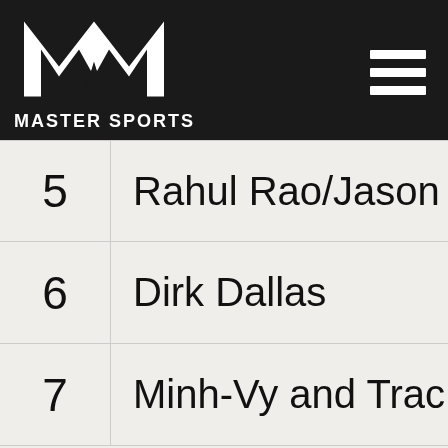[Figure (logo): Master Sports logo: stylized M with a star, white on dark background, with hamburger menu icon]
| # | Name |
| --- | --- |
| 5 | Rahul Rao/Jason Adair |
| 6 | Dirk Dallas |
| 7 | Minh-Vy and Trac Nguye |